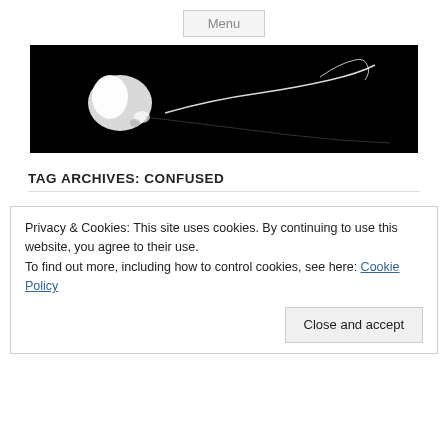Menu
[Figure (photo): Black and white photograph showing a glowing/burning object with wispy smoke or worm-like filaments against a black background]
TAG ARCHIVES: CONFUSED
Privacy & Cookies: This site uses cookies. By continuing to use this website, you agree to their use.
To find out more, including how to control cookies, see here: Cookie Policy
Close and accept